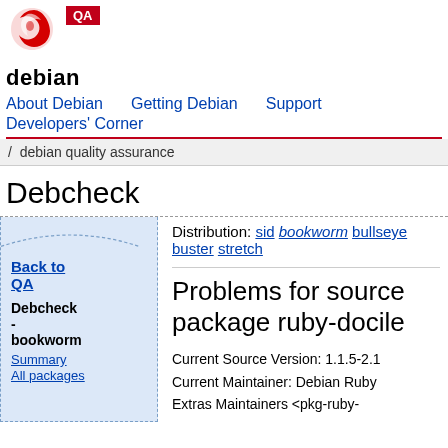[Figure (logo): Debian swirl logo (red) with QA badge]
debian
About Debian   Getting Debian   Support   Developers' Corner
/ debian quality assurance
Debcheck
Distribution: sid bookworm bullseye buster stretch
Back to QA
Debcheck - bookworm
Summary
All packages
Problems for source package ruby-docile
Current Source Version: 1.1.5-2.1
Current Maintainer: Debian Ruby Extras Maintainers <pkg-ruby-